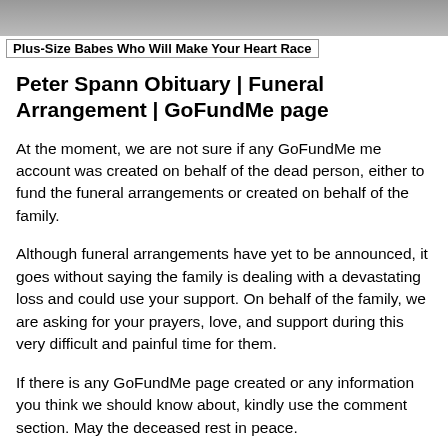[Figure (photo): Partial image of a person visible at top of page, cut off]
Plus-Size Babes Who Will Make Your Heart Race
Peter Spann Obituary | Funeral Arrangement | GoFundMe page
At the moment, we are not sure if any GoFundMe me account was created on behalf of the dead person, either to fund the funeral arrangements or created on behalf of the family.
Although funeral arrangements have yet to be announced, it goes without saying the family is dealing with a devastating loss and could use your support. On behalf of the family, we are asking for your prayers, love, and support during this very difficult and painful time for them.
If there is any GoFundMe page created or any information you think we should know about, kindly use the comment section. May the deceased rest in peace.
Little acts such as tributes and prayers can go a long way to heal the family of their loss and remind them the world still